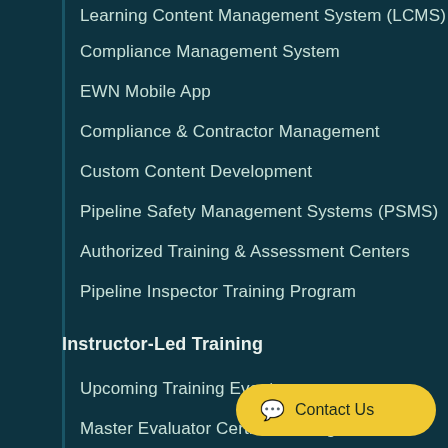Learning Content Management System (LCMS)
Compliance Management System
EWN Mobile App
Compliance & Contractor Management
Custom Content Development
Pipeline Safety Management Systems (PSMS)
Authorized Training & Assessment Centers
Pipeline Inspector Training Program
Instructor-Led Training
Upcoming Training Events
Master Evaluator Certificate Program
E3 System Admin Training
Master Trainer Development Program